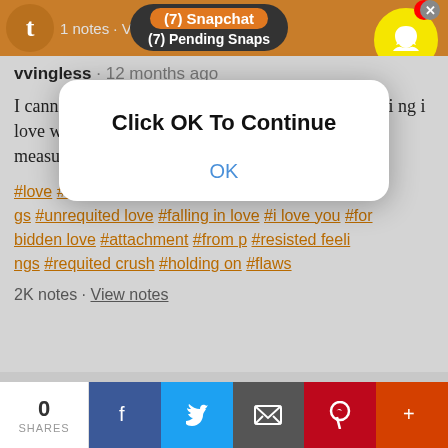1 notes · View notes
[Figure (screenshot): Snapchat notification popup showing '(7) Snapchat' and '(7) Pending Snaps' with Snapchat ghost icon and notification badge 1]
vvingless · 12 months ago
I cannot let go. This is my great flaw, i grip every thing i love with both hands and sink my teeth in for good measure.
#love #crush #unrequited love #unrequited feelings #unrequited love #falling in love #i love you #forbidden love #attachment #from p #resisted feelings #requited crush #holding on #flaws
2K notes · View notes
Click OK To Continue
OK
0 SHARES
Facebook Twitter Email Pinterest More